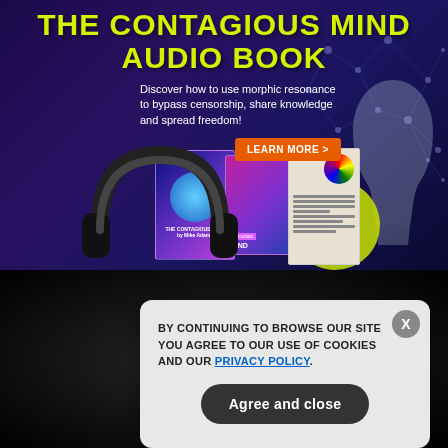[Figure (infographic): The Contagious Mind Audio Book advertisement banner with dark blue/purple background, network graphic, product images (phone, books, headphones), and silhouette of a head]
THE CONTAGIOUS MIND AUDIO BOOK
Discover how to use morphic resonance to bypass censorship, share knowledge and spread freedom!
LEARN MORE >
GET THE WORLD'S BEST NATURAL HEALTH NEWSLETTER DELIVERED STRAIGHT TO YOUR INBOX
Enter Your Email Address
SUBSCRIBE
BY CONTINUING TO BROWSE OUR SITE YOU AGREE TO OUR USE OF COOKIES AND OUR PRIVACY POLICY.
Agree and close